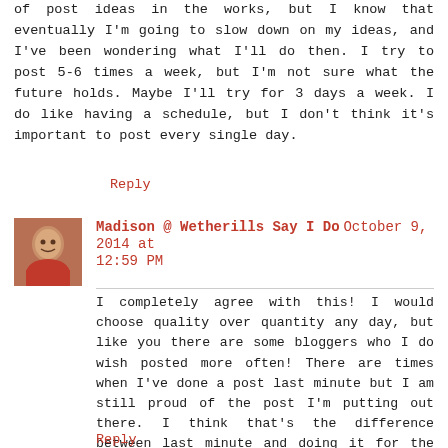of post ideas in the works, but I know that eventually I'm going to slow down on my ideas, and I've been wondering what I'll do then. I try to post 5-6 times a week, but I'm not sure what the future holds. Maybe I'll try for 3 days a week. I do like having a schedule, but I don't think it's important to post every single day.
Reply
Madison @ Wetherills Say I Do  October 9, 2014 at 12:59 PM
I completely agree with this! I would choose quality over quantity any day, but like you there are some bloggers who I do wish posted more often! There are times when I've done a post last minute but I am still proud of the post I'm putting out there. I think that's the difference between last minute and doing it for the sake of NEEDING to have a post on a specific day. I really appreciate your thoughts on this and how important it is to you to always have high quality posts (which you do!) instead of filling you blog with five posts a week.
Reply